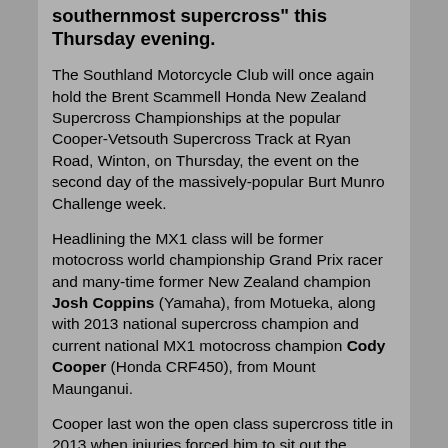southernmost supercross" this Thursday evening.
The Southland Motorcycle Club will once again hold the Brent Scammell Honda New Zealand Supercross Championships at the popular Cooper-Vetsouth Supercross Track at Ryan Road, Winton, on Thursday, the event on the second day of the massively-popular Burt Munro Challenge week.
Headlining the MX1 class will be former motocross world championship Grand Prix racer and many-time former New Zealand champion Josh Coppins (Yamaha), from Motueka, along with 2013 national supercross champion and current national MX1 motocross champion Cody Cooper (Honda CRF450), from Mount Maunganui.
Cooper last won the open class supercross title in 2013 when injuries forced him to sit out the championships last season.
The 38-year-old Coppins has not raced the supercross